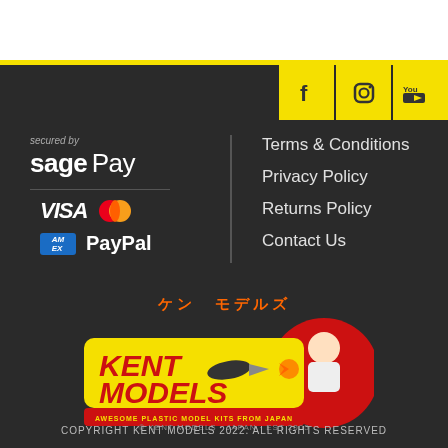[Figure (logo): Social media icons: Facebook, Instagram, YouTube in yellow squares]
[Figure (logo): Secured by Sage Pay logo with payment icons: VISA, Mastercard, Amex, PayPal]
Terms & Conditions
Privacy Policy
Returns Policy
Contact Us
[Figure (logo): Kent Models logo with Japanese text ケン モデルズ and anime character, tagline AWESOME PLASTIC MODEL KITS FROM JAPAN]
COPYRIGHT KENT MODELS 2022. ALL RIGHTS RESERVED